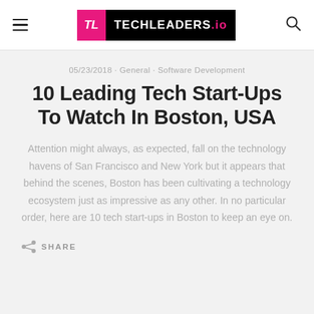TECHLEADERS.io
05/23/2018 · General · Software Development
10 Leading Tech Start-Ups To Watch In Boston, USA
Attention might always, as expected, fall on the technology havens of San Francisco and New York but it appears that behind the scenes, Boston has been cultivating a technology ecosystem just as impressive as any other. In no particular order, here are 10 tech start-ups in Boston to keep an eye on.
SHARE